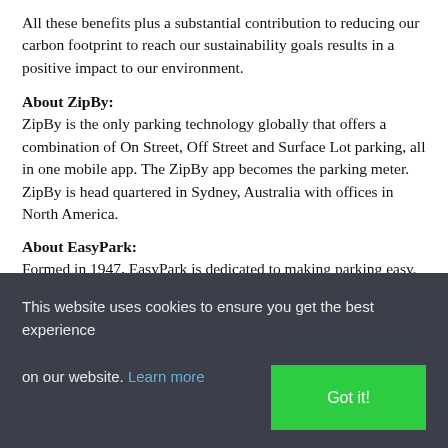All these benefits plus a substantial contribution to reducing our carbon footprint to reach our sustainability goals results in a positive impact to our environment.
About ZipBy:
ZipBy is the only parking technology globally that offers a combination of On Street, Off Street and Surface Lot parking, all in one mobile app. The ZipBy app becomes the parking meter. ZipBy is head quartered in Sydney, Australia with offices in North America.
About EasyPark:
Formed in 1947, EasyPark is dedicated to making parking easy.
This website uses cookies to ensure you get the best experience on our website. Learn more